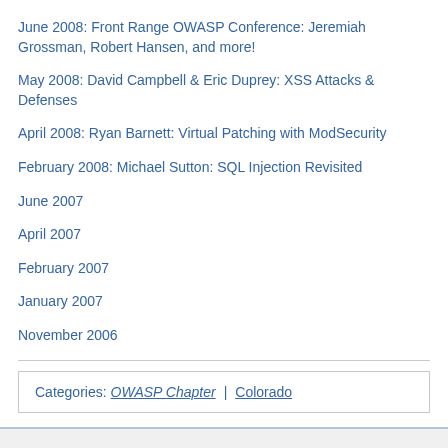June 2008: Front Range OWASP Conference: Jeremiah Grossman, Robert Hansen, and more!
May 2008: David Campbell & Eric Duprey: XSS Attacks & Defenses
April 2008: Ryan Barnett: Virtual Patching with ModSecurity
February 2008: Michael Sutton: SQL Injection Revisited
June 2007
April 2007
February 2007
January 2007
November 2006
Categories:  OWASP Chapter | Colorado
Home
About OWASP